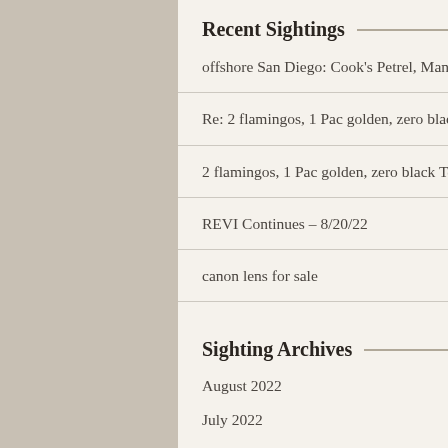Recent Sightings
offshore San Diego: Cook's Petrel, Manx Shearwater, Red-footed & Nazca Boobies, 2 B-f Albatrosses
Re: 2 flamingos, 1 Pac golden, zero black Terns.
2 flamingos, 1 Pac golden, zero black Terns.
REVI Continues – 8/20/22
canon lens for sale
Sighting Archives
August 2022
July 2022
June 2022
May 2022
April 2022